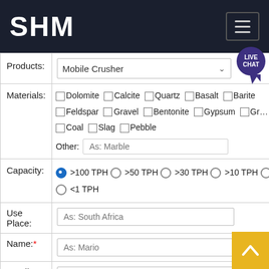SHM
| Products: | Mobile Crusher |
| Materials: | ☐ Dolomite ☐ Calcite ☐ Quartz ☐ Basalt ☐ Barite ☐ Feldspar ☐ Gravel ☐ Bentonite ☐ Gypsum ☐ Gra ☐ Coal ☐ Slag ☐ Pebble  Other: As: Marble |
| Capacity: | ⦿ >100 TPH ○ >50 TPH ○ >30 TPH ○ >10 TPH ○ ... ○ <1 TPH |
| Use Place: | As: South Africa |
| Name:* | As: Mario |
| Email:* | As: sample@isp.com |